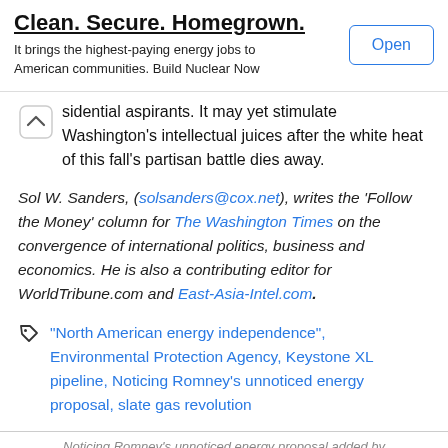Clean. Secure. Homegrown.
It brings the highest-paying energy jobs to American communities. Build Nuclear Now
Open
sidential aspirants. It may yet stimulate Washington's intellectual juices after the white heat of this fall's partisan battle dies away.
Sol W. Sanders, (solsanders@cox.net), writes the 'Follow the Money' column for The Washington Times on the convergence of international politics, business and economics. He is also a contributing editor for WorldTribune.com and East-Asia-Intel.com.
"North American energy independence", Environmental Protection Agency, Keystone XL pipeline, Noticing Romney's unnoticed energy proposal, slate gas revolution
Noticing Romney's unnoticed energy proposal added by